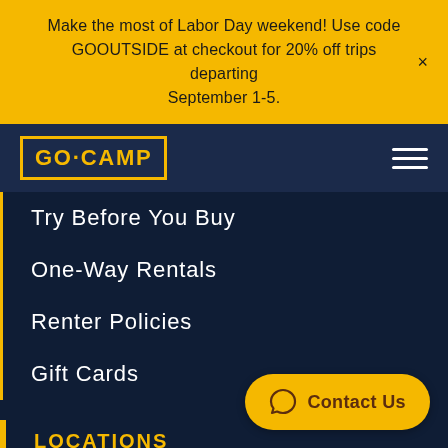Make the most of Labor Day weekend! Use code GOOUTSIDE at checkout for 20% off trips departing September 1-5.
[Figure (logo): GO·CAMP logo in yellow text with yellow border on dark navy background]
Try Before You Buy
One-Way Rentals
Renter Policies
Gift Cards
LOCATIONS
Denver
Los Angeles
Phoenix